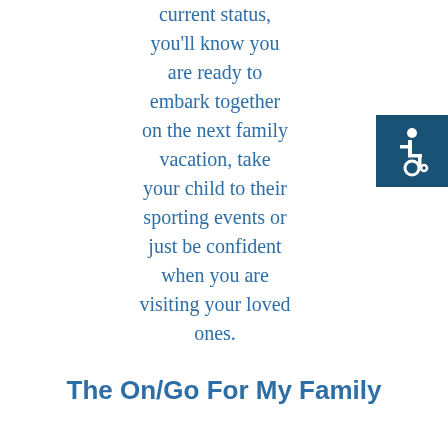current status, you'll know you are ready to embark together on the next family vacation, take your child to their sporting events or just be confident when you are visiting your loved ones.
[Figure (illustration): Accessibility icon: white wheelchair user symbol on dark blue square background]
The On/Go For My Family